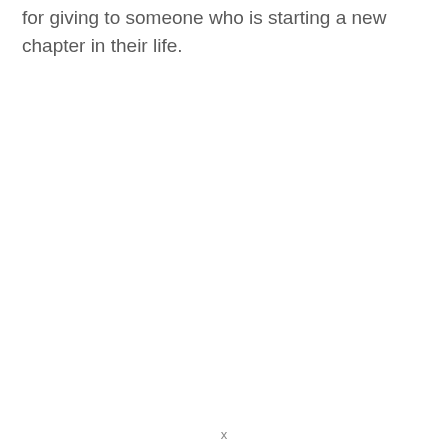for giving to someone who is starting a new chapter in their life.
x